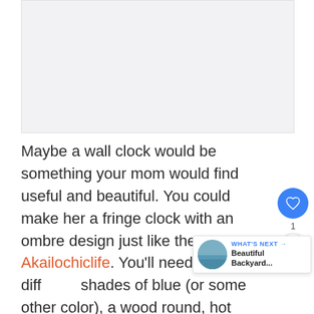[Figure (photo): Image placeholder area at top of page, light gray background]
Maybe a wall clock would be something your mom would find useful and beautiful. You could make her a fringe clock with an ombre design just like the one on Akailochiclife. You'll need felt in different shades of blue (or some other color), a wood round, hot glue, a clock kit, gold